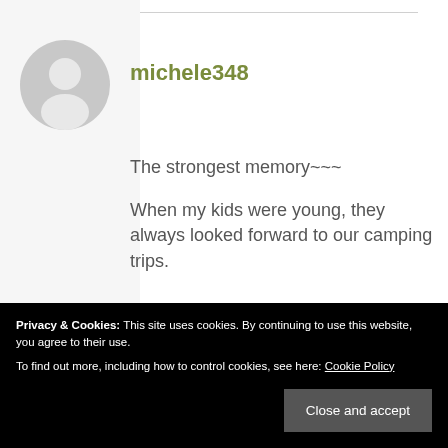[Figure (illustration): Default user avatar icon — a grey circle with a white silhouette of a person]
michele348
The strongest memory~~~
When my kids were young, they always looked forward to our camping trips.
One of our rituals was to
til they were toasty and
Privacy & Cookies:  This site uses cookies. By continuing to use this website, you agree to their use.
To find out more, including how to control cookies, see here: Cookie Policy
Close and accept